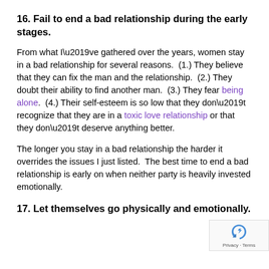16. Fail to end a bad relationship during the early stages.
From what I’ve gathered over the years, women stay in a bad relationship for several reasons.  (1.) They believe that they can fix the man and the relationship.  (2.) They doubt their ability to find another man.  (3.) They fear being alone.  (4.) Their self-esteem is so low that they don’t recognize that they are in a toxic love relationship or that they don’t deserve anything better.
The longer you stay in a bad relationship the harder it overrides the issues I just listed.  The best time to end a bad relationship is early on when neither party is heavily invested emotionally.
17. Let themselves go physically and emotionally.